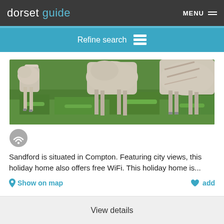dorset guide  MENU
Refine search
[Figure (photo): Close-up of sheep grazing on green grass, showing their woolly bodies and legs from mid-body down.]
Sandford is situated in Compton. Featuring city views, this holiday home also offers free WiFi. This holiday home is...
Show on map  add
View details